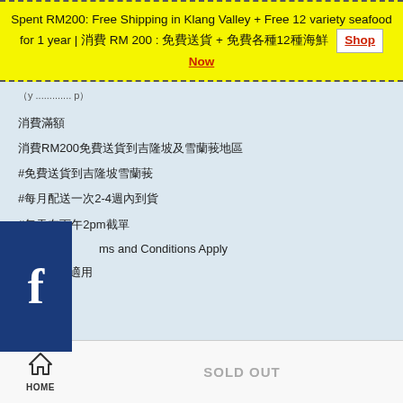Spent RM200: Free Shipping in Klang Valley + Free 12 variety seafood for 1 year | 消費 RM 200 : 免費送貨 + 免費各種12種海鮮 Shop Now
（partial line of text）
消費滿額
消費RM200免費送貨到吉隆坡及雪蘭莪地區
#免費送貨到吉隆坡雪蘭莪
#每月配送一次2-4週內到貨
#每天在下午2pm截單
Terms and Conditions Apply
*相關條款適用
HOME  SOLD OUT